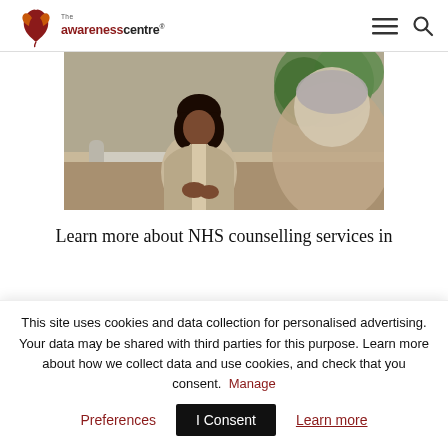The Awareness Centre
[Figure (photo): A female therapist in a beige blazer sitting across from an older male client in a counselling session, in a modern bright room with plants in the background.]
Learn more about NHS counselling services in
This site uses cookies and data collection for personalised advertising. Your data may be shared with third parties for this purpose. Learn more about how we collect data and use cookies, and check that you consent. Manage
Preferences
I Consent
Learn more